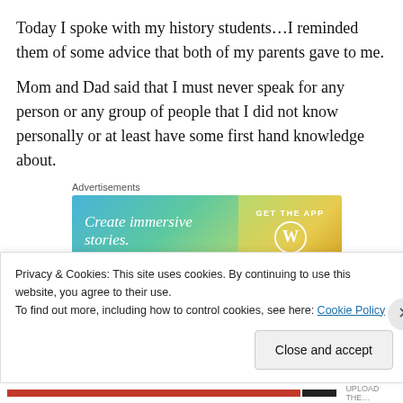Today I spoke with my history students…I reminded them of some advice that both of my parents gave to me.
Mom and Dad said that I must never speak for any person or any group of people that I did not know personally or at least have some first hand knowledge about.
[Figure (other): WordPress advertisement banner: 'Create immersive stories. GET THE APP' with WordPress logo on gradient blue-green-yellow background]
I reminded these students that no matter what they saw on
Privacy & Cookies: This site uses cookies. By continuing to use this website, you agree to their use.
To find out more, including how to control cookies, see here: Cookie Policy